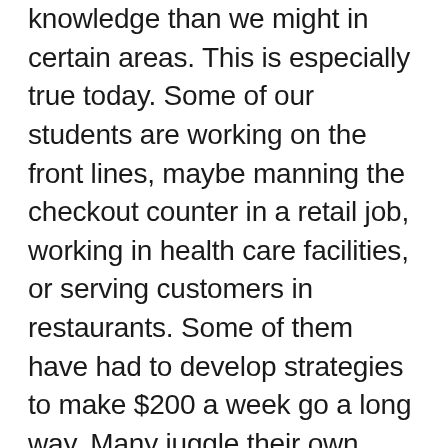knowledge than we might in certain areas. This is especially true today. Some of our students are working on the front lines, maybe manning the checkout counter in a retail job, working in health care facilities, or serving customers in restaurants. Some of them have had to develop strategies to make $200 a week go a long way. Many juggle their own homework while helping their kids do theirs (and in the process have learned how to use course management systems). Still others are growing their own side business or are doing gig work.
As adults ourselves, we may have many